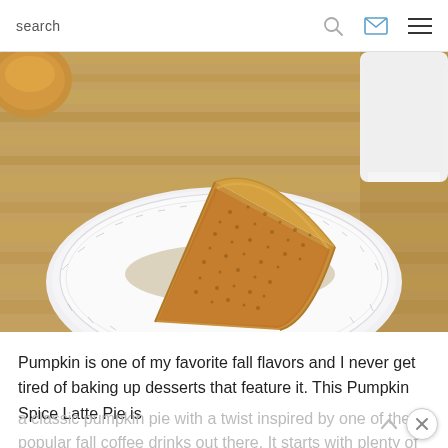search
[Figure (photo): A slice of pumpkin pie on a white plate with decorative rim, placed on a wooden cutting board. A white mug is visible in the upper right corner, and a small pastry is in the upper left.]
Pumpkin is one of my favorite fall flavors and I never get tired of baking up desserts that feature it. This Pumpkin Spice Latte Pie is a classic pumpkin pie with a twist inspired by one of the most popular fall coffee drinks out there. It starts with plenty of